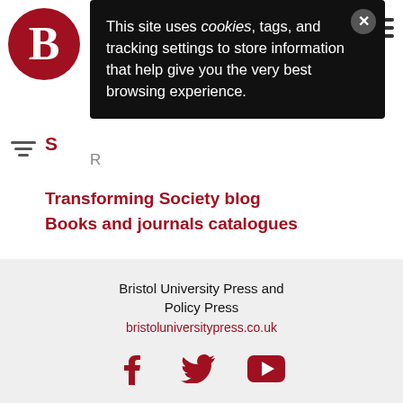[Figure (logo): Bristol University Press circular logo with large B letter in dark red]
[Figure (other): Cookie consent popup overlay with text: This site uses cookies, tags, and tracking settings to store information that help give you the very best browsing experience.]
Transforming Society blog
Books and journals catalogues
Bristol University Press and Policy Press
bristoluniversitypress.co.uk
[Figure (other): Social media icons: Facebook, Twitter, YouTube in dark red]